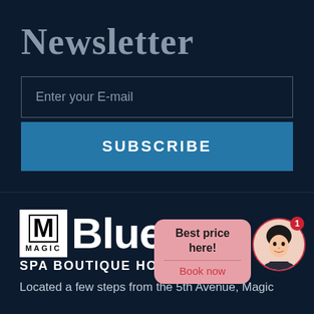Newsletter
Enter your E-mail
SUBSCRIBE
[Figure (logo): Magic Blue Spa Boutique Hotel logo — M in a box with MAGIC text below, followed by Blue in large white text]
SPA BOUTIQUE HOTEL
Located a few steps from the 5th Avenue, Magic
[Figure (illustration): Chat popup with pink background saying 'Best price here!' and 'Book now' link, plus avatar circle with female character and notification badge showing 1]